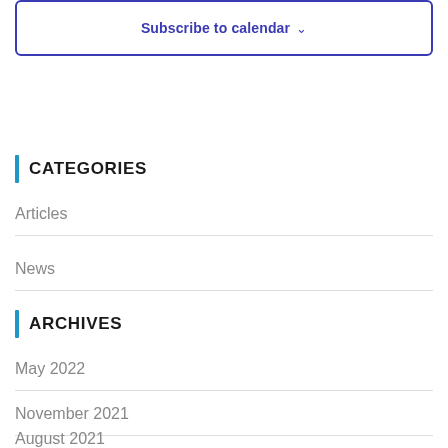Subscribe to calendar ▾
CATEGORIES
Articles
News
ARCHIVES
May 2022
November 2021
August 2021